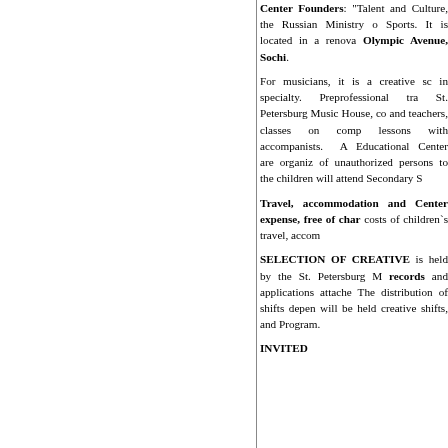Center Founders: "Talent and Culture, the Russian Ministry of Sports. It is located in a renovated Olympic Avenue, Sochi.
For musicians, it is a creative school in specialty. Preprofessional training, St. Petersburg Music House, composers and teachers, classes on composition, lessons with accompanists. All at the Educational Center are organized. Admission of unauthorized persons to the center and children will attend Secondary School.
Travel, accommodation and meals are at Center expense, free of charge. The costs of children's travel, accommodation.
SELECTION OF CREATIVE
is held by the St. Petersburg Music House records and applications attached. The distribution of shifts depends, will be held creative shifts, and Program.
INVITED